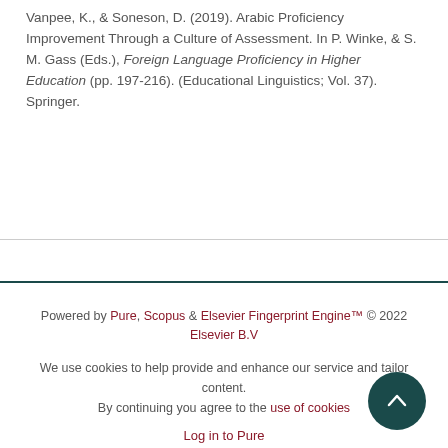Vanpee, K., & Soneson, D. (2019). Arabic Proficiency Improvement Through a Culture of Assessment. In P. Winke, & S. M. Gass (Eds.), Foreign Language Proficiency in Higher Education (pp. 197-216). (Educational Linguistics; Vol. 37). Springer.
Powered by Pure, Scopus & Elsevier Fingerprint Engine™ © 2022 Elsevier B.V
We use cookies to help provide and enhance our service and tailor content. By continuing you agree to the use of cookies
Log in to Pure
About web accessibility
Contact us